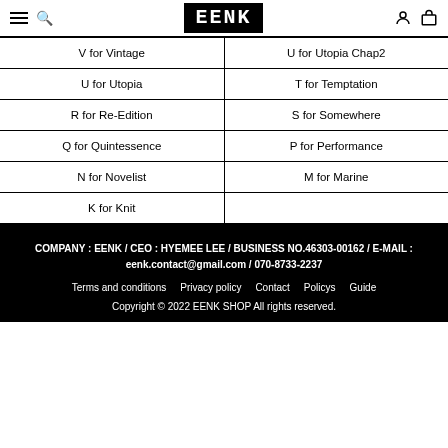EENK
| V for Vintage | U for Utopia Chap2 |
| U for Utopia | T for Temptation |
| R for Re-Edition | S for Somewhere |
| Q for Quintessence | P for Performance |
| N for Novelist | M for Marine |
| K for Knit |  |
COMPANY : EENK / CEO : HYEMEE LEE / BUSINESS NO.46303-00162 / E-MAIL : eenk.contact@gmail.com / 070-8733-2237
Terms and conditions   Privacy policy   Contact   Policys   Guide
Copyright © 2022 EENK SHOP All rights reserved.